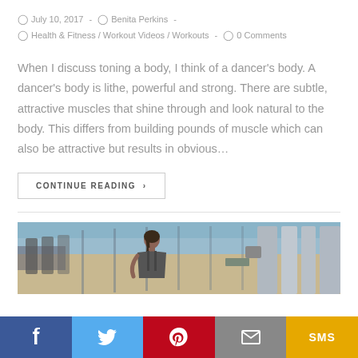July 10, 2017  -  Benita Perkins  -  Health & Fitness / Workout Videos / Workouts  -  0 Comments
When I discuss toning a body, I think of a dancer's body. A dancer's body is lithe, powerful and strong. There are subtle, attractive muscles that shine through and look natural to the body. This differs from building pounds of muscle which can also be attractive but results in obvious…
CONTINUE READING  >
[Figure (photo): Woman at gym with exercise machines in background]
[Figure (infographic): Social sharing bar with Facebook, Twitter, Pinterest, Email, and SMS buttons]